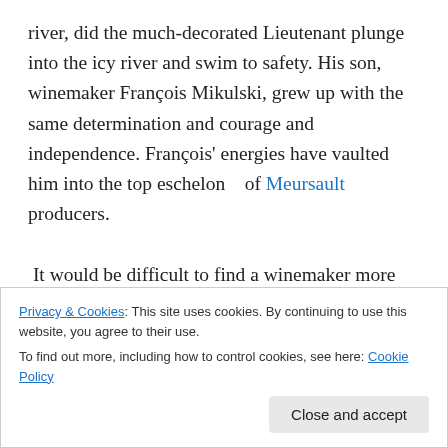river, did the much-decorated Lieutenant plunge into the icy river and swim to safety. His son, winemaker François Mikulski, grew up with the same determination and courage and independence. François' energies have vaulted him into the top eschelon   of Meursault producers.
It would be difficult to find a winemaker more thoroughly worldly than François Mikulski.  After the Second War, his Polish father married a French woman working on an American base in England. The couple moved to Brussels, where François was born and raised. As a boy, François
Privacy & Cookies: This site uses cookies. By continuing to use this website, you agree to their use.
To find out more, including how to control cookies, see here: Cookie Policy